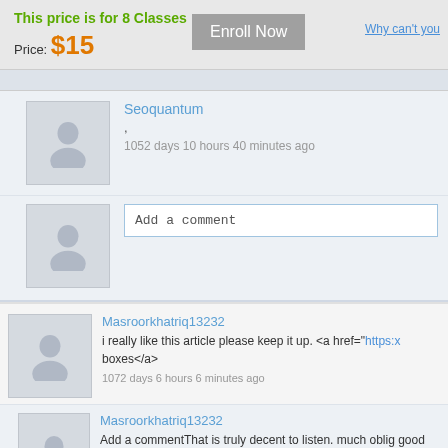This price is for 8 Classes
Price: $15
Enroll Now
Why can't you
Seoquantum
,
1052 days 10 hours 40 minutes ago
Add a comment
Masroorkhatriq13232
i really like this article please keep it up. <a href="https:x boxes</a>
1072 days 6 hours 6 minutes ago
Masroorkhatriq13232
Add a commentThat is truly decent to listen. much oblig good fortunes. https://www.55printing.com/
1067 days 17 hours 50 minutes ago